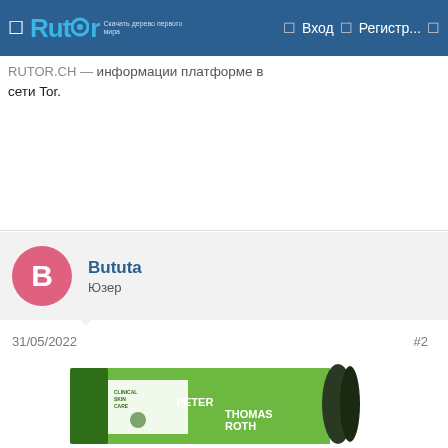Rutor — Вход — Регистр...
сети Tor.
Bututa
Юзер
31/05/2022
#2
[Figure (photo): Peter Thomas Roth product box, green packaging, partially visible at bottom of page]